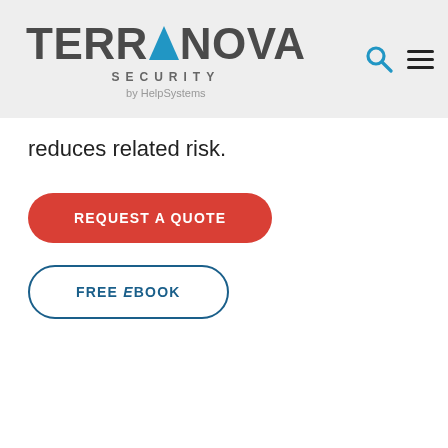TERRANOVA SECURITY by HelpSystems
reduces related risk.
[Figure (other): Red rounded button with white uppercase text: REQUEST A QUOTE]
[Figure (other): White rounded button with blue border and blue uppercase text: FREE eBOOK]